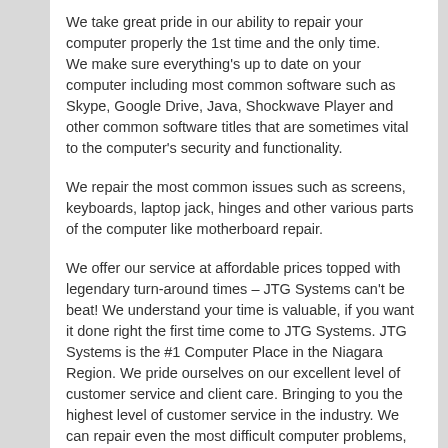We take great pride in our ability to repair your computer properly the 1st time and the only time.
We make sure everything's up to date on your computer including most common software such as Skype, Google Drive, Java, Shockwave Player and other common software titles that are sometimes vital to the computer's security and functionality.
We repair the most common issues such as screens, keyboards, laptop jack, hinges and other various parts of the computer like motherboard repair.
We offer our service at affordable prices topped with legendary turn-around times – JTG Systems can't be beat! We understand your time is valuable, if you want it done right the first time come to JTG Systems. JTG Systems is the #1 Computer Place in the Niagara Region. We pride ourselves on our excellent level of customer service and client care. Bringing to you the highest level of customer service in the industry. We can repair even the most difficult computer problems, our great business manner and our technical skills are the keys to our success and our good business name.